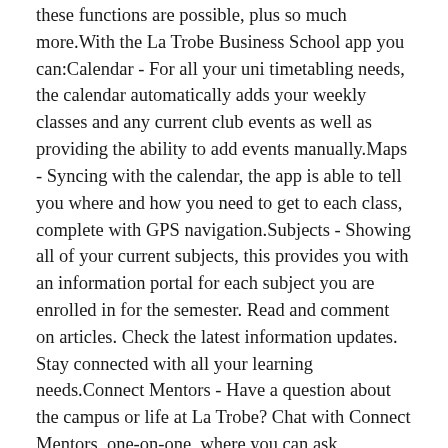these functions are possible, plus so much more.With the La Trobe Business School app you can:Calendar - For all your uni timetabling needs, the calendar automatically adds your weekly classes and any current club events as well as providing the ability to add events manually.Maps - Syncing with the calendar, the app is able to tell you where and how you need to get to each class, complete with GPS navigation.Subjects - Showing all of your current subjects, this provides you with an information portal for each subject you are enrolled in for the semester. Read and comment on articles. Check the latest information updates. Stay connected with all your learning needs.Connect Mentors - Have a question about the campus or life at La Trobe? Chat with Connect Mentors, one-on-one, where you can ask questions you may have about uni life.Clubs and Societies - Want to join a club? Want to stay up to date with the clubs and societies you have already joined? This feature will help you find all the information you need in one central location.FAQs - Have a problem with the app?